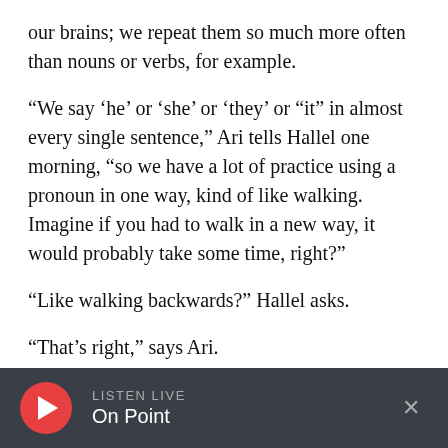our brains; we repeat them so much more often than nouns or verbs, for example.
“We say ‘he’ or ‘she’ or ‘they’ or “it” in almost every single sentence,” Ari tells Hallel one morning, “so we have a lot of practice using a pronoun in one way, kind of like walking. Imagine if you had to walk in a new way, it would probably take some time, right?”
“Like walking backwards?” Hallel asks.
“That’s right,” says Ari.
LISTEN LIVE
On Point